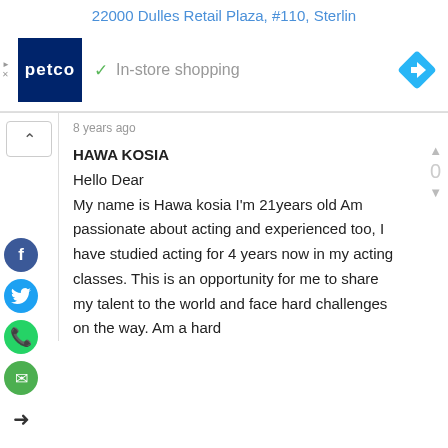22000 Dulles Retail Plaza, #110, Sterlin
[Figure (screenshot): Petco store advertisement banner with logo, In-store shopping checkmark, and navigation diamond icon]
8 years ago
HAWA KOSIA
Hello Dear
My name is Hawa kosia I'm 21years old Am passionate about acting and experienced too, I have studied acting for 4 years now in my acting classes. This is an opportunity for me to share my talent to the world and face hard challenges on the way. Am a hard